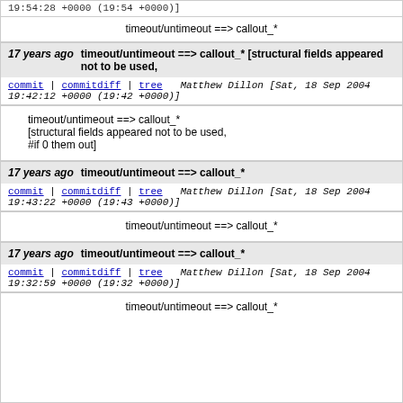19:54:28 +0000 (19:54 +0000)]
timeout/untimeout ==> callout_*
17 years ago    timeout/untimeout ==> callout_* [structural fields appeared not to be used,
commit | commitdiff | tree    Matthew Dillon [Sat, 18 Sep 2004 19:42:12 +0000 (19:42 +0000)]
timeout/untimeout ==> callout_*
[structural fields appeared not to be used,
#if 0 them out]
17 years ago    timeout/untimeout ==> callout_*
commit | commitdiff | tree    Matthew Dillon [Sat, 18 Sep 2004 19:43:22 +0000 (19:43 +0000)]
timeout/untimeout ==> callout_*
17 years ago    timeout/untimeout ==> callout_*
commit | commitdiff | tree    Matthew Dillon [Sat, 18 Sep 2004 19:32:59 +0000 (19:32 +0000)]
timeout/untimeout ==> callout_*